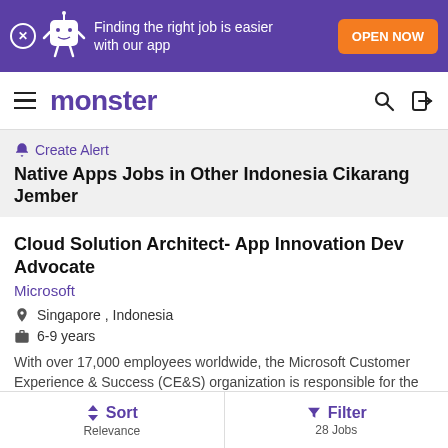[Figure (screenshot): Monster job board app promotion banner with purple background, mascot character, and orange 'OPEN NOW' button. Text: 'Finding the right job is easier with our app']
monster
🔔 Create Alert
Native Apps Jobs in Other Indonesia Cikarang Jember
Cloud Solution Architect- App Innovation Dev Advocate
Microsoft
Singapore , Indonesia
6-9 years
With over 17,000 employees worldwide, the Microsoft Customer Experience & Success (CE&S) organization is responsible for the ...
Sort Relevance | Filter 28 Jobs